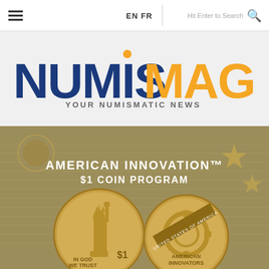EN FR | Hit Enter to Search
[Figure (logo): NumisMag logo with orange dot above the letter i, NUMIS in dark blue and MAG in orange, tagline YOUR NUMISMATIC NEWS]
[Figure (photo): American Innovation $1 Coin Program promotional image showing two gold coins — one with Statue of Liberty (IN GOD WE TRUST, $1) and one with American Innovators design — on a parchment document background]